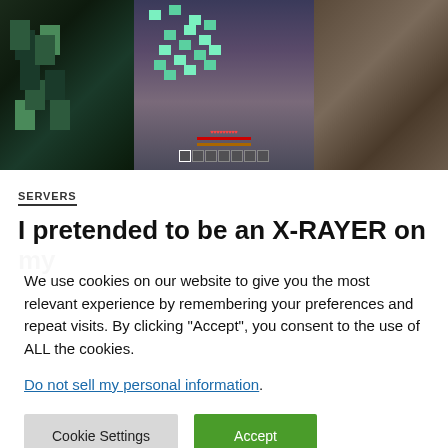[Figure (screenshot): Minecraft gameplay screenshot showing an overhead view of a player with glowing green ore/items scattered around, HUD elements including health bar and hotbar visible at bottom, dark cave/mine environment]
SERVERS
I pretended to be an X-RAYER on my
We use cookies on our website to give you the most relevant experience by remembering your preferences and repeat visits. By clicking “Accept”, you consent to the use of ALL the cookies.
Do not sell my personal information.
Cookie Settings
Accept